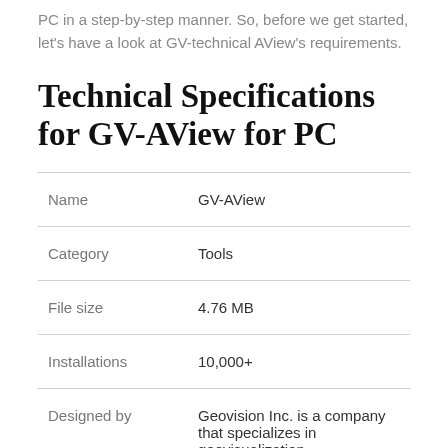PC in a step-by-step manner. So, before we get started, let's have a look at GV-technical AView's requirements.
Technical Specifications for GV-AView for PC
|  |  |
| --- | --- |
| Name | GV-AView |
| Category | Tools |
| File size | 4.76 MB |
| Installations | 10,000+ |
| Designed by | Geovision Inc. is a company that specializes in geovisualization |